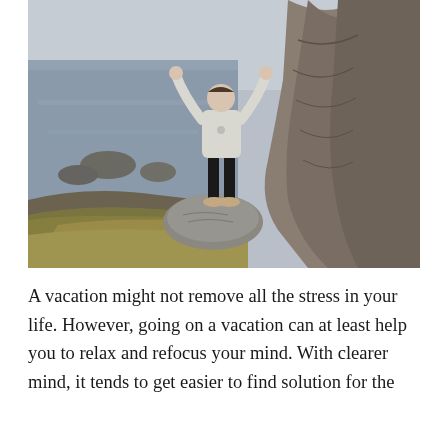[Figure (photo): A person standing on a rocky cliff with arms raised triumphantly, overlooking a dramatic coastal landscape with sea, rocks, and rugged cliffs. The person wears a light grey hoodie and dark pants.]
A vacation might not remove all the stress in your life. However, going on a vacation can at least help you to relax and refocus your mind. With clearer mind, it tends to get easier to find solution for the problems you may have. The problem with travelling